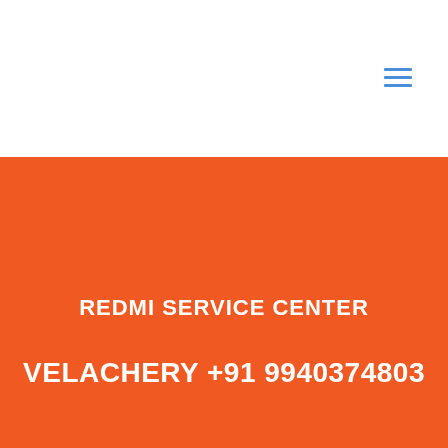REDMI SERVICE CENTER
VELACHERY +91 9940374803
Mi Service Tips